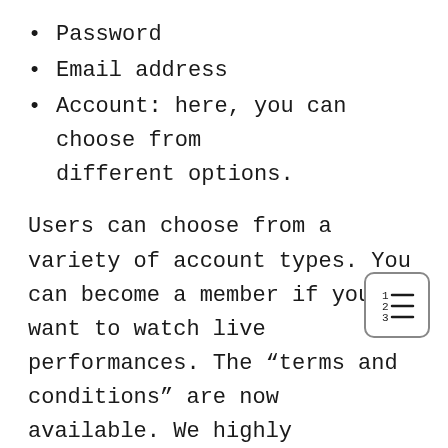Password
Email address
Account: here, you can choose from different options.
Users can choose from a variety of account types. You can become a member if you want to watch live performances. The “terms and conditions” are now available. We highly recommend that you go through it all. That being said, this book isn’t for the faint of heart, but it is necessary to know in order to stand up for your rights. Scams on the internet are also on the rise. So, heed the advice of the experts and read every
[Figure (other): Small icon depicting a numbered list symbol inside a rounded square border]